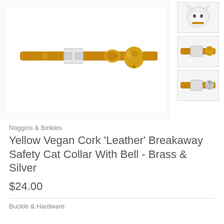[Figure (photo): Main product photo of a yellow/mustard vegan cork leather cat collar with a gold breakaway safety buckle and a gold bell, displayed on a white background.]
[Figure (photo): Thumbnail 1: A white cat wearing the yellow cork leather collar, small image.]
[Figure (photo): Thumbnail 2: Close-up of the yellow cork leather cat collar with brass hardware, small image.]
[Figure (photo): Thumbnail 3: Close-up of the yellow cork leather cat collar with silver hardware and a small silver bell, small image.]
Noggins & Binkles
Yellow Vegan Cork 'Leather' Breakaway Safety Cat Collar With Bell - Brass & Silver
$24.00
Buckle & Hardware